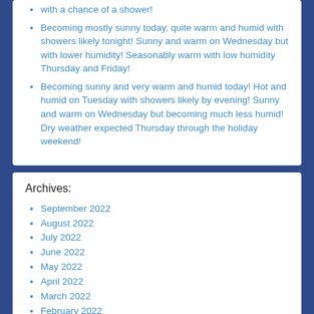with a chance of a shower!
Becoming mostly sunny today, quite warm and humid with showers likely tonight! Sunny and warm on Wednesday but with lower humidity! Seasonably warm with low humidity Thursday and Friday!
Becoming sunny and very warm and humid today! Hot and humid on Tuesday with showers likely by evening! Sunny and warm on Wednesday but becoming much less humid! Dry weather expected Thursday through the holiday weekend!
Archives:
September 2022
August 2022
July 2022
June 2022
May 2022
April 2022
March 2022
February 2022